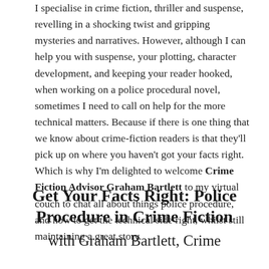I specialise in crime fiction, thriller and suspense, revelling in a shocking twist and gripping mysteries and narratives. However, although I can help you with suspense, your plotting, character development, and keeping your reader hooked, when working on a police procedural novel, sometimes I need to call on help for the more technical matters. Because if there is one thing that we know about crime-fiction readers is that they'll pick up on where you haven't got your facts right. Which is why I'm delighted to welcome Crime Fiction Advisor Graham Bartlett to my virtual couch to chat all about things police procedure, and how to get the technical side right, whilst still maintaining a great story.
Get Your Facts Right: Police Procedure in Crime Fiction with Graham Bartlett, Crime